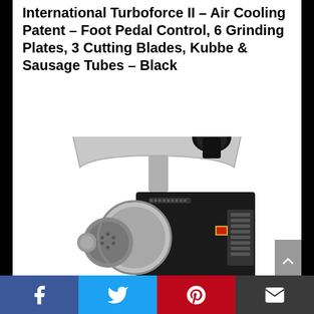International Turboforce II – Air Cooling Patent – Foot Pedal Control, 6 Grinding Plates, 3 Cutting Blades, Kubbe & Sausage Tubes – Black
[Figure (photo): Black and silver electric meat grinder with a large stainless steel feeding tray, grinding head, and multiple attachments visible, shown on white background.]
Facebook | Twitter | Pinterest | Email